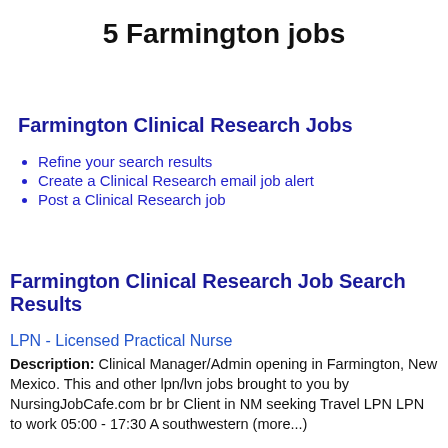5 Farmington jobs
Farmington Clinical Research Jobs
Refine your search results
Create a Clinical Research email job alert
Post a Clinical Research job
Farmington Clinical Research Job Search Results
LPN - Licensed Practical Nurse
Description: Clinical Manager/Admin opening in Farmington, New Mexico. This and other lpn/lvn jobs brought to you by NursingJobCafe.com br br Client in NM seeking Travel LPN LPN to work 05:00 - 17:30 A southwestern (more...)